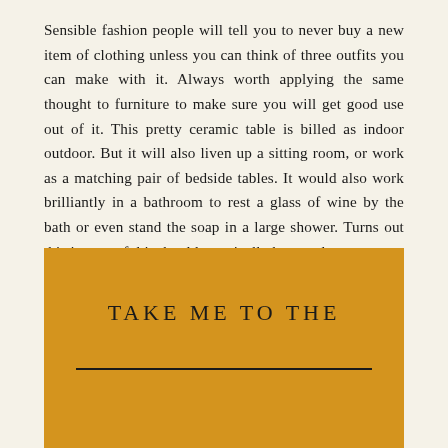Sensible fashion people will tell you to never buy a new item of clothing unless you can think of three outfits you can make with it. Always worth applying the same thought to furniture to make sure you will get good use out of it. This pretty ceramic table is billed as indoor outdoor. But it will also liven up a sitting room, or work as a matching pair of bedside tables. It would also work brilliantly in a bathroom to rest a glass of wine by the bath or even stand the soap in a large shower. Turns out this is so useful it should practically be mandatory.
[Figure (other): Gold/amber colored banner box containing the text 'TAKE ME TO THE' in uppercase spaced letters, with a horizontal black line below it.]